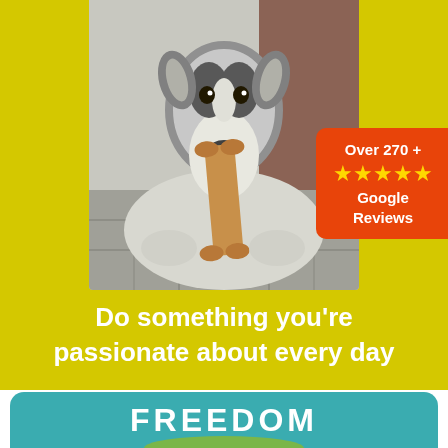[Figure (photo): A collie/sheltie dog lying on stone pavers, holding a large bone or treat in its mouth, photographed from the front. The dog has a thick black and white fur coat.]
Over 270 + ★★★★★ Google Reviews
Do something you're passionate about every day
FREEDOM